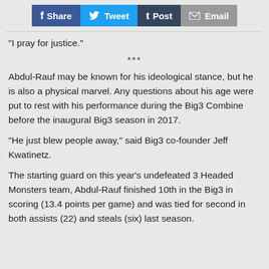Share  Tweet  Post  Email
"I pray for justice."
***
Abdul-Rauf may be known for his ideological stance, but he is also a physical marvel. Any questions about his age were put to rest with his performance during the Big3 Combine before the inaugural Big3 season in 2017.
"He just blew people away," said Big3 co-founder Jeff Kwatinetz.
The starting guard on this year's undefeated 3 Headed Monsters team, Abdul-Rauf finished 10th in the Big3 in scoring (13.4 points per game) and was tied for second in both assists (22) and steals (six) last season.